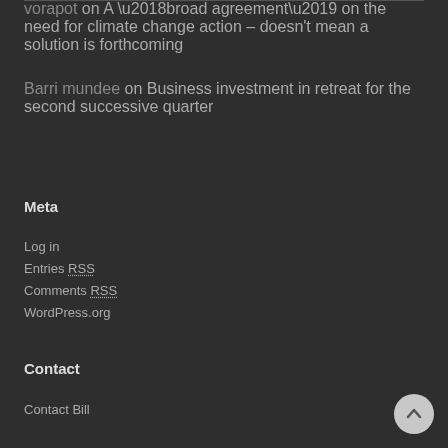vorapot on A ‘broad agreement’ on the need for climate change action – doesn’t mean a solution is forthcoming
Barri mundee on Business investment in retreat for the second successive quarter
Meta
Log in
Entries RSS
Comments RSS
WordPress.org
Contact
Contact Bill